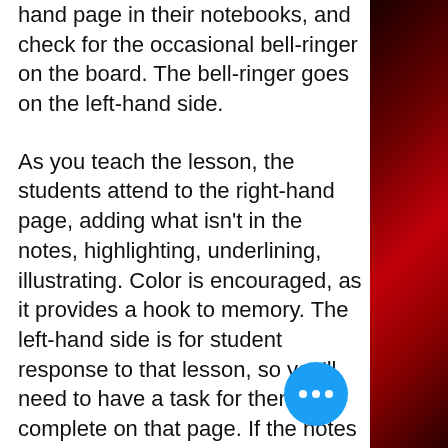hand page in their notebooks, and check for the occasional bell-ringer on the board. The bell-ringer goes on the left-hand side.
As you teach the lesson, the students attend to the right-hand page, adding what isn't in the notes, highlighting, underlining, illustrating. Color is encouraged, as it provides a hook to memory. The left-hand side is for student response to that lesson, so you'll need to have a task for them to complete on that page. If the notes are about pantomime, the left page may be an outline of the panto they plan to perform the next day.
When a grading rubric or quiz is